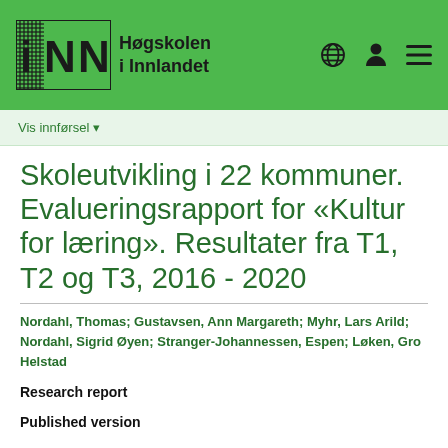Høgskolen i Innlandet
Skoleutvikling i 22 kommuner. Evalueringsrapport for «Kultur for læring». Resultater fra T1, T2 og T3, 2016 - 2020
Nordahl, Thomas; Gustavsen, Ann Margareth; Myhr, Lars Arild; Nordahl, Sigrid Øyen; Stranger-Johannessen, Espen; Løken, Gro Helstad
Research report
Published version